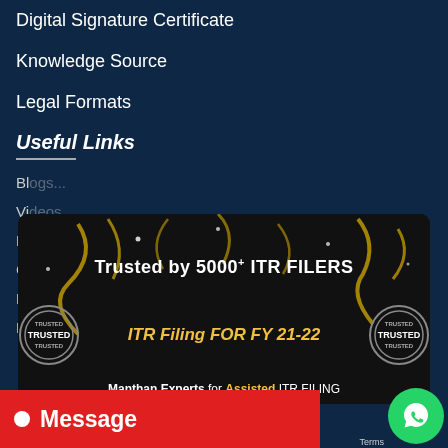Digital Signature Certificate
Knowledge Source
Legal Formats
Useful Links
Bl...
Vi...
Ph...
Co...
Be...
Pr...
[Figure (infographic): Advertisement banner on dark background with gold confetti. Text reads 'Trusted by 5000+ ITR FILERS' and 'ITR Filing FOR FY 21-22' with two TRUSTED stamps on either side. Bottom text: 'Manthan Experts for Assisted ITR FILING']
Message
Terms